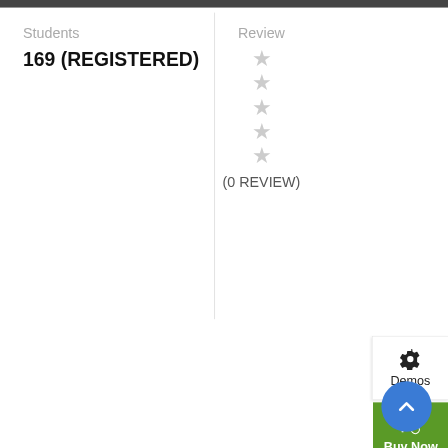Students
169 (REGISTERED)
Review
(0 REVIEW)
Demos
Buy Now
Course Description
If you are a newbie to managing a WordPress website, then congratulations! You are here at the right track with us because we are going to introduce you one of the most basic knowledge when owning a WordPress page: how to find your